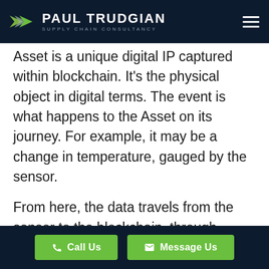PAUL TRUDGIAN SUPPLY CHAIN CONSULTANCY
Asset is a unique digital IP captured within blockchain. It’s the physical object in digital terms. The event is what happens to the Asset on its journey. For example, it may be a change in temperature, gauged by the sensor.
From here, the data travels from the sensor to the blockchain, through ‘Meta-data’ as a unique ‘hash’.
Call Us | Message Us